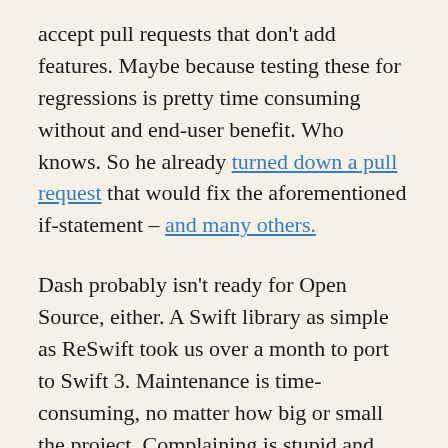accept pull requests that don't add features. Maybe because testing these for regressions is pretty time consuming without and end-user benefit. Who knows. So he already turned down a pull request that would fix the aforementioned if-statement – and many others.
Dash probably isn't ready for Open Source, either. A Swift library as simple as ReSwift took us over a month to port to Swift 3. Maintenance is time-consuming, no matter how big or small the project. Complaining is stupid and childish, but that's the noise we have to deal with if we don't want to be stupid and childish ourselves.
I don't think everyone's grown-up enough for